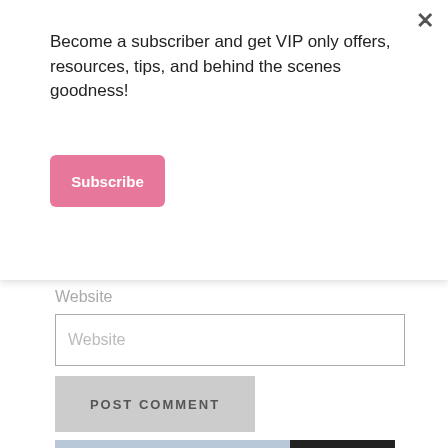Become a subscriber and get VIP only offers, resources, tips, and behind the scenes goodness!
Subscribe
Website
Website
POST COMMENT
[Figure (infographic): DirectRelief ad banner showing helicopter loading scene with text ANYTIME. ANYWHERE. ANYONE IN NEED.]
[Figure (infographic): Forest conservation ad: Just $2 can protect 1 acre of irreplaceable forest homes in the Amazon. How many acres are you willing to protect? PROTECT FORESTS NOW]